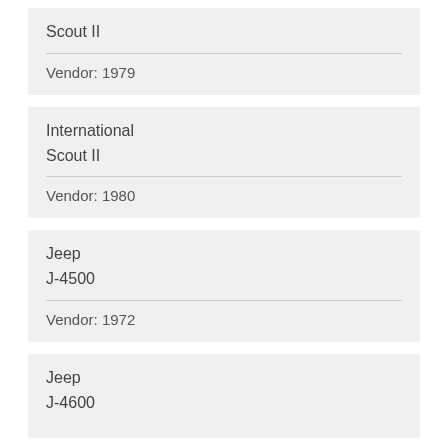Scout II
Vendor: 1979
International
Scout II
Vendor: 1980
Jeep
J-4500
Vendor: 1972
Jeep
J-4600